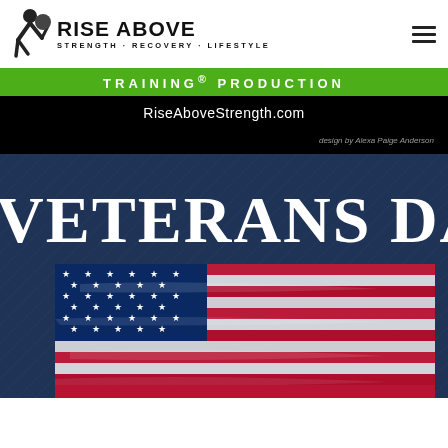RISE ABOVE STRENGTH · RECOVERY · LIFESTYLE
[Figure (logo): Rise Above logo with athlete figure and text RISE ABOVE STRENGTH · RECOVERY · LIFESTYLE]
TRAINING® PRODUCTION
RiseAboveStrength.com
design by Alexa Paige Anderson
[Figure (photo): Veterans Day banner with large white bold text VETERANS DAY on dark blue textured background, with a distressed American flag showing stars and red/white stripes]